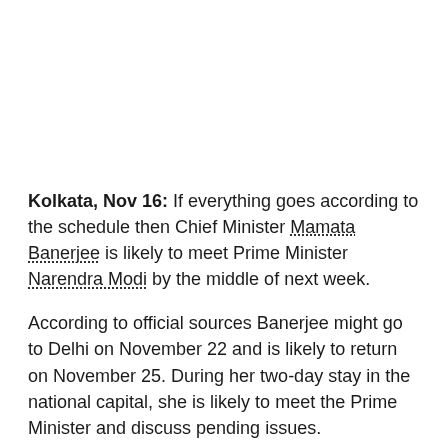Kolkata, Nov 16: If everything goes according to the schedule then Chief Minister Mamata Banerjee is likely to meet Prime Minister Narendra Modi by the middle of next week.
According to official sources Banerjee might go to Delhi on November 22 and is likely to return on November 25. During her two-day stay in the national capital, she is likely to meet the Prime Minister and discuss pending issues.